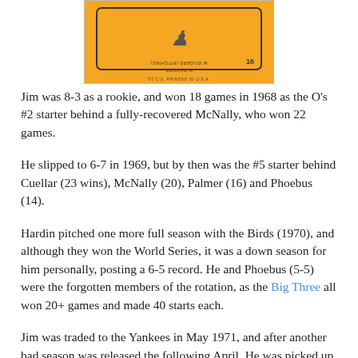[Figure (illustration): Top portion of a baseball card with orange background, showing a cartoon figure with number 16, and text lines that appear mirrored/upside down. Bottom text reads '©T.C.G. PRINTED IN U.S.A.']
Jim was 8-3 as a rookie, and won 18 games in 1968 as the O's #2 starter behind a fully-recovered McNally, who won 22 games.
He slipped to 6-7 in 1969, but by then was the #5 starter behind Cuellar (23 wins), McNally (20), Palmer (16) and Phoebus (14).
Hardin pitched one more full season with the Birds (1970), and although they won the World Series, it was a down season for him personally, posting a 6-5 record. He and Phoebus (5-5) were the forgotten members of the rotation, as the Big Three all won 20+ games and made 40 starts each.
Jim was traded to the Yankees in May 1971, and after another bad season was released the following April. He was picked up by the Braves a few weeks later and pitched 26